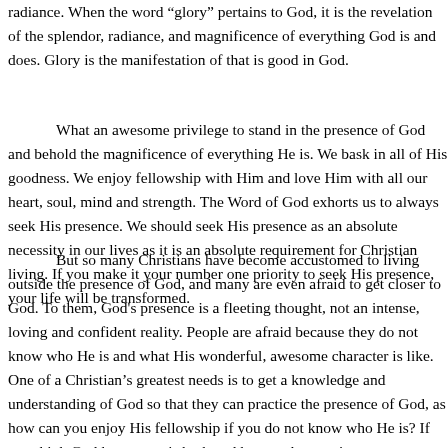radiance. When the word "glory" pertains to God, it is the revelation of the splendor, radiance, and magnificence of everything God is and does. Glory is the manifestation of that is good in God.
What an awesome privilege to stand in the presence of God and behold the magnificence of everything He is. We bask in all of His goodness. We enjoy fellowship with Him and love Him with all our heart, soul, mind and strength. The Word of God exhorts us to always seek His presence. We should seek His presence as an absolute necessity in our lives as it is an absolute requirement for Christian living. If you make it your number one priority to seek His presence, your life will be transformed.
But so many Christians have become accustomed to living outside the presence of God, and many are even afraid to get closer to God. To them, God's presence is a fleeting thought, not an intense, loving and confident reality. People are afraid because they do not know who He is and what His wonderful, awesome character is like. One of a Christian's greatest needs is to get a knowledge and understanding of God so that they can practice the presence of God, as how can you enjoy His fellowship if you do not even know who He is? If you think God hates you, is bothered by you, has no time or concern for you, and is unloving, angry, and unmerciful toward you then you will never practice His presence. As the problem is...